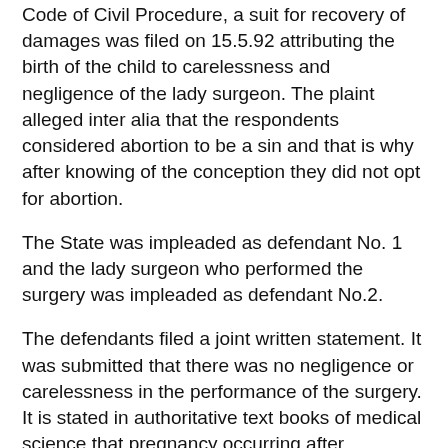Code of Civil Procedure, a suit for recovery of damages was filed on 15.5.92 attributing the birth of the child to carelessness and negligence of the lady surgeon. The plaint alleged inter alia that the respondents considered abortion to be a sin and that is why after knowing of the conception they did not opt for abortion.
The State was impleaded as defendant No. 1 and the lady surgeon who performed the surgery was impleaded as defendant No.2.
The defendants filed a joint written statement. It was submitted that there was no negligence or carelessness in the performance of the surgery. It is stated in authoritative text books of medical science that pregnancy occurring after sterilization may be attributable to natural failure. It was also submitted that the plaintiffs having learnt of the unwanted pregnancy, should have sought medical opinion and opted for medical termination of pregnancy within 20 weeks which is
permissible and legal.
The parties went to trial. The plaintiff No. 1, that in the